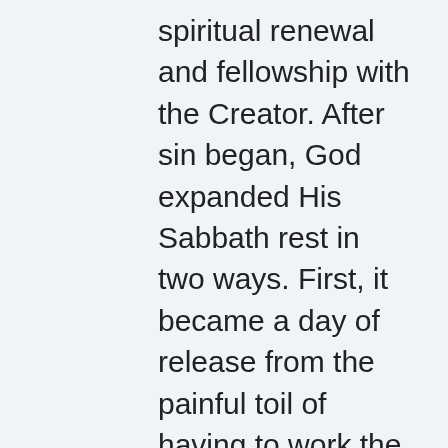spiritual renewal and fellowship with the Creator. After sin began, God expanded His Sabbath rest in two ways. First, it became a day of release from the painful toil of having to work the ground to survive. As Adam and Eve soon learned, if you depend upon your very own garden to survive, faith in God was absolutely necessary to let your field rest for a whole day during the planting or reaping season. Later, after the Exodus, God expanded His Sabbath rest to include a whole year. Every seventh year, Israel was required to stop working the land and let it rest. To encourage Israel's faith in God, He promised a bumper crop every sixth year. Every action God requires has a purpose and is part of His marvelous plan. God used the requirement of